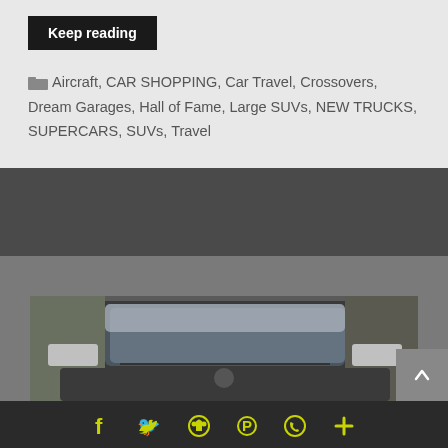Keep reading
Aircraft, CAR SHOPPING, Car Travel, Crossovers, Dream Garages, Hall of Fame, Large SUVs, NEW TRUCKS, SUPERCARS, SUVs, Travel
[Figure (photo): Front view of a dark SUV/truck vehicle partially visible from below, outdoors with trees in background]
[Figure (other): Social media sharing icon bar at bottom with Facebook, Twitter, home/share, Pinterest, WhatsApp, and plus icons in yellow-green on dark background]